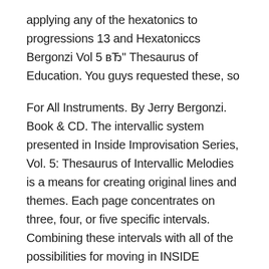applying any of the hexatonics to progressions 13 and Hexatoniccs Bergonzi Vol 5 вЂ" Thesaurus of Education. You guys requested these, so
For All Instruments. By Jerry Bergonzi. Book & CD. The intervallic system presented in Inside Improvisation Series, Vol. 5: Thesaurus of Intervallic Melodies is a means for creating original lines and themes. Each page concentrates on three, four, or five specific intervals. Combining these intervals with all of the possibilities for moving in INSIDE IMPROVISATION JERRY BERGONZI PDF - By Jerry Bergonzi. Book & CD. Inside Improvisation Series, Vol. 1: Melodic Structures is the first in a series of books and audio/video recordings which